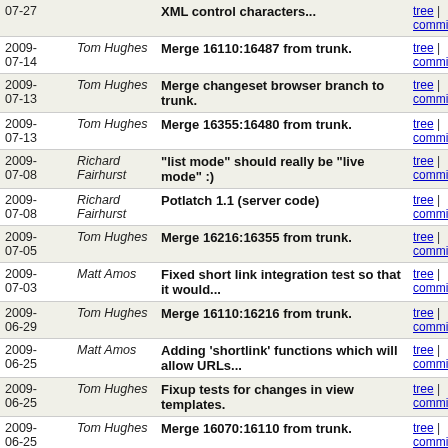| Date | Author | Message | Links |
| --- | --- | --- | --- |
| 2009-07-27 |  | XML control characters... | tree | commitdiff |
| 2009-07-14 | Tom Hughes | Merge 16110:16487 from trunk. | tree | commitdiff |
| 2009-07-13 | Tom Hughes | Merge changeset browser branch to trunk. | tree | commitdiff |
| 2009-07-13 | Tom Hughes | Merge 16355:16480 from trunk. | tree | commitdiff |
| 2009-07-08 | Richard Fairhurst | "list mode" should really be "live mode" :) | tree | commitdiff |
| 2009-07-08 | Richard Fairhurst | Potlatch 1.1 (server code) | tree | commitdiff |
| 2009-07-05 | Tom Hughes | Merge 16216:16355 from trunk. | tree | commitdiff |
| 2009-07-03 | Matt Amos | Fixed short link integration test so that it would... | tree | commitdiff |
| 2009-06-29 | Tom Hughes | Merge 16110:16216 from trunk. | tree | commitdiff |
| 2009-06-25 | Matt Amos | Adding 'shortlink' functions which will allow URLs... | tree | commitdiff |
| 2009-06-25 | Tom Hughes | Fixup tests for changes in view templates. | tree | commitdiff |
| 2009-06-25 | Tom Hughes | Merge 16070:16110 from trunk. | tree | commitdiff |
| 2009-06-25 | Tom Hughes | Merge 16012:16110 from trunk. | tree | commitdiff |
| 2009-06-23 | Tom Hughes | Revert r16046. | tree | commitdiff |